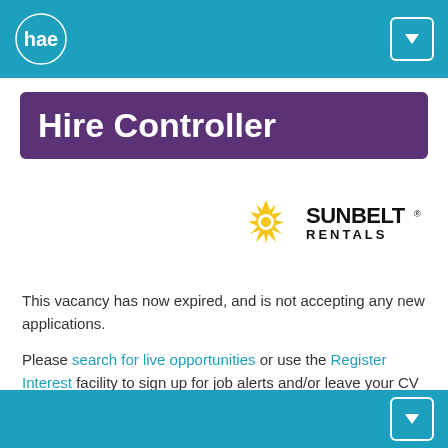hae
Hire Controller
[Figure (logo): Sunbelt Rentals logo with yellow sun gear icon and bold black SUNBELT RENTALS text]
This vacancy has now expired, and is not accepting any new applications.
Please search for live opportunities or use the Register Interest facility to sign up for job alerts and/or leave your CV speculatively.
Vacancy Title
Hire Controller
Company
Sunbelt Rentals